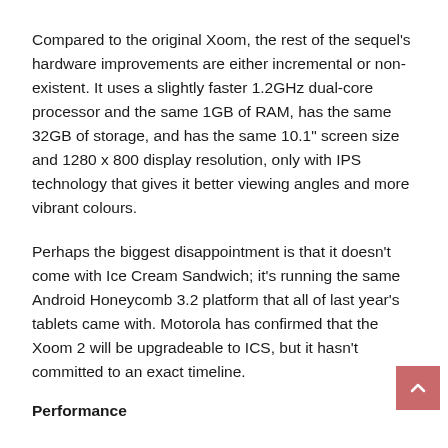Compared to the original Xoom, the rest of the sequel's hardware improvements are either incremental or non-existent. It uses a slightly faster 1.2GHz dual-core processor and the same 1GB of RAM, has the same 32GB of storage, and has the same 10.1" screen size and 1280 x 800 display resolution, only with IPS technology that gives it better viewing angles and more vibrant colours.
Perhaps the biggest disappointment is that it doesn't come with Ice Cream Sandwich; it's running the same Android Honeycomb 3.2 platform that all of last year's tablets came with. Motorola has confirmed that the Xoom 2 will be upgradeable to ICS, but it hasn't committed to an exact timeline.
Performance